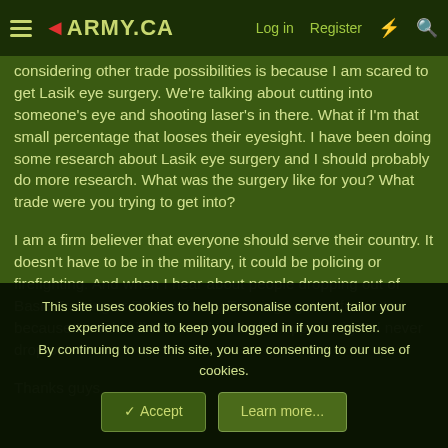◄ARMY.CA | Log in | Register
considering other trade possibilities is because I am scared to get Lasik eye surgery. We're talking about cutting into someone's eye and shooting laser's in there. What if I'm that small percentage that looses their eyesight. I have been doing some research about Lasik eye surgery and I should probably do more research. What was the surgery like for you? What trade were you trying to get into?
I am a firm believer that everyone should serve their country. It doesn't have to be in the military, it could be policing or firefighting. And when I hear about people dropping out of Basic Training or Basic Infantry Training I get so frustrated because I would kill to have that kind of opportunity. I'd never drop out.
Thanks guys
This site uses cookies to help personalise content, tailor your experience and to keep you logged in if you register.
By continuing to use this site, you are consenting to our use of cookies.